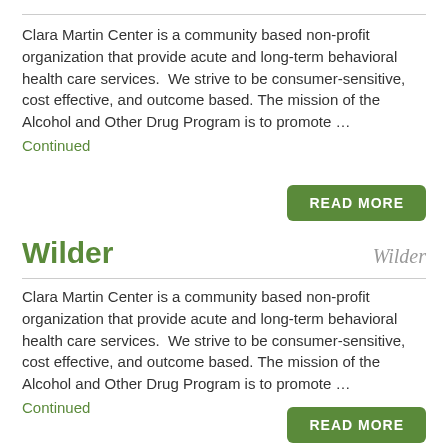Clara Martin Center is a community based non-profit organization that provide acute and long-term behavioral health care services.  We strive to be consumer-sensitive, cost effective, and outcome based. The mission of the Alcohol and Other Drug Program is to promote …
Continued
READ MORE
Wilder
Wilder
Clara Martin Center is a community based non-profit organization that provide acute and long-term behavioral health care services.  We strive to be consumer-sensitive, cost effective, and outcome based. The mission of the Alcohol and Other Drug Program is to promote …
Continued
READ MORE